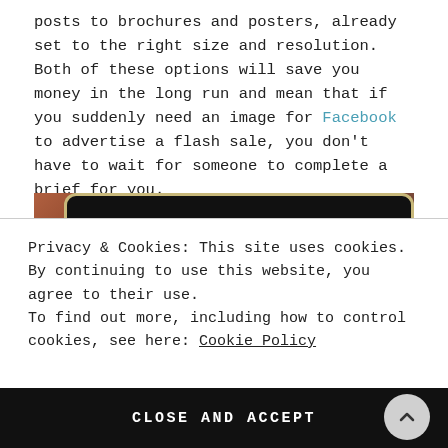posts to brochures and posters, already set to the right size and resolution. Both of these options will save you money in the long run and mean that if you suddenly need an image for Facebook to advertise a flash sale, you don't have to wait for someone to complete a brief for you.
[Figure (photo): Close-up photo of a laptop/tablet screen corner showing a dark screen with gold/cream colored bezel against a warm brown background]
Privacy & Cookies: This site uses cookies. By continuing to use this website, you agree to their use.
To find out more, including how to control cookies, see here: Cookie Policy
CLOSE AND ACCEPT